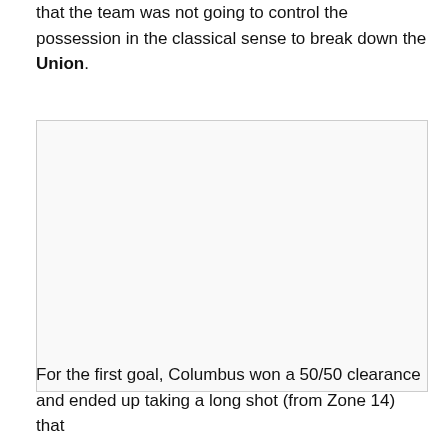that the team was not going to control the possession in the classical sense to break down the Union.
[Figure (photo): Large image placeholder occupying most of the page middle section, with a light gray background and thin border.]
For the first goal, Columbus won a 50/50 clearance and ended up taking a long shot (from Zone 14) that